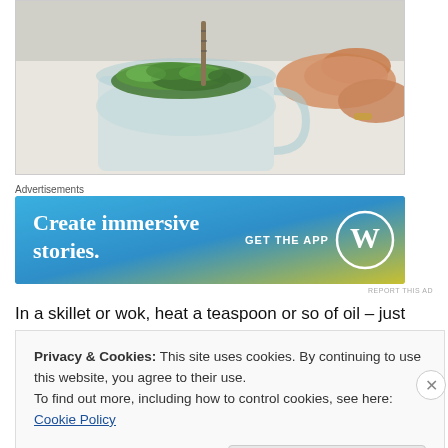[Figure (photo): A glass mug or cup containing green herbs/moss, with a person's hand holding or placing the plant material inside. A ruler or stick is visible inside the cup. The background is a white cloth or surface.]
Advertisements
[Figure (screenshot): WordPress ad banner with gradient blue-to-yellow background. Text reads: 'Create immersive stories. GET THE APP' with a WordPress W logo on the right.]
REPORT THIS AD
In a skillet or wok, heat a teaspoon or so of oil – just enough so
Privacy & Cookies: This site uses cookies. By continuing to use this website, you agree to their use.
To find out more, including how to control cookies, see here: Cookie Policy
Close and accept